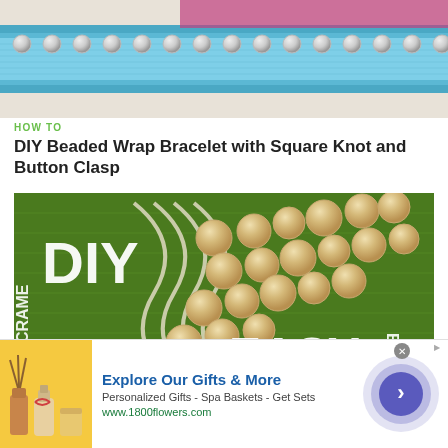[Figure (photo): Close-up photo of a beaded wrap bracelet with silver beads on blue macrame cord]
HOW TO
DIY Beaded Wrap Bracelet with Square Knot and Button Clasp
[Figure (photo): DIY Macrame Bracelet photo showing wooden beads on white cord against green fabric background with text overlay: DIY, MACRAME, BRACELET, EASY]
HOW TO
DIY Macrame Beaded Square Knotted Stackable Bracelet
[Figure (advertisement): Advertisement for 1800flowers.com: Explore Our Gifts & More - Personalized Gifts - Spa Baskets - Get Sets]